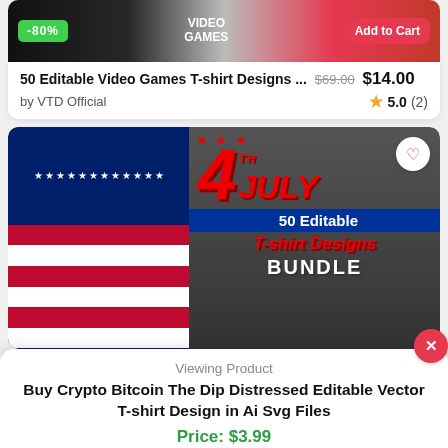[Figure (screenshot): Product listing image for 50 Editable Video Games T-shirt Designs bundle with -80% badge and Add to Cart button]
50 Editable Video Games T-shirt Designs ...   $69.00  $14.00
by VTD Official   ★ 5.0 (2)
[Figure (photo): 4th of July 50 Editable T-shirt Designs BUNDLE product image with American flag background]
Viewing Product
Buy Crypto Bitcoin The Dip Distressed Editable Vector T-shirt Design in Ai Svg Files
Price: $3.99
Add to cart